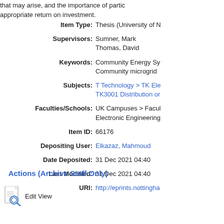that may arise, and the importance of participation for appropriate return on investment.
| Field | Value |
| --- | --- |
| Item Type: | Thesis (University of N… |
| Supervisors: | Sumner, Mark
Thomas, David |
| Keywords: | Community Energy Sy…
Community microgrid |
| Subjects: | T Technology > TK Ele…
TK3001 Distribution or… |
| Faculties/Schools: | UK Campuses > Facul…
Electronic Engineering… |
| Item ID: | 66176 |
| Depositing User: | Elkazaz, Mahmoud |
| Date Deposited: | 31 Dec 2021 04:40 |
| Last Modified: | 31 Dec 2021 04:40 |
| URI: | http://eprints.nottingha… |
Actions (Archive Staff Only)
Edit View